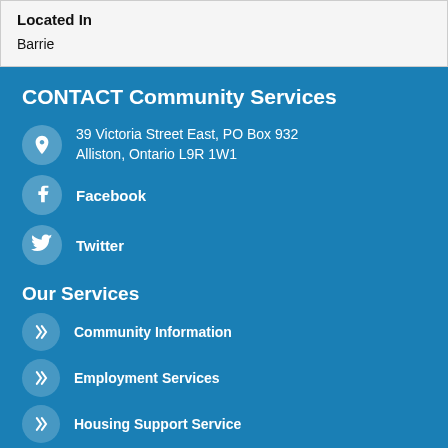| Located In |
| --- |
| Barrie |
CONTACT Community Services
39 Victoria Street East, PO Box 932
Alliston, Ontario L9R 1W1
Facebook
Twitter
Our Services
Community Information
Employment Services
Housing Support Service
Volunteer South Simcoe
This website was built with accessibility in mind. Please let us know if you encounter any difficulties using this site.